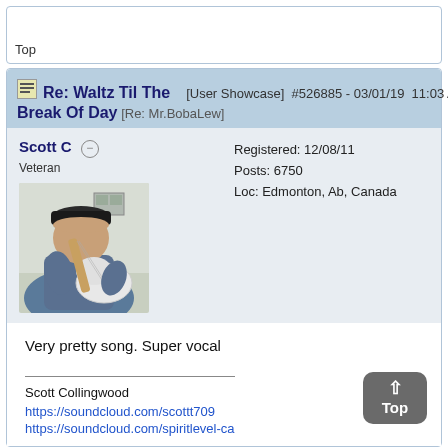Top
Re: Waltz Til The Break Of Day [User Showcase] #526885 - 03/01/19 11:03 AM [Re: Mr.BobaLew]
Scott C  Veteran
Registered: 12/08/11
Posts: 6750
Loc: Edmonton, Ab, Canada
[Figure (photo): Profile photo of Scott C playing an electric guitar, wearing a dark cap and blue t-shirt]
Very pretty song. Super vocal
Scott Collingwood
https://soundcloud.com/scottt709
https://soundcloud.com/spiritlevel-ca